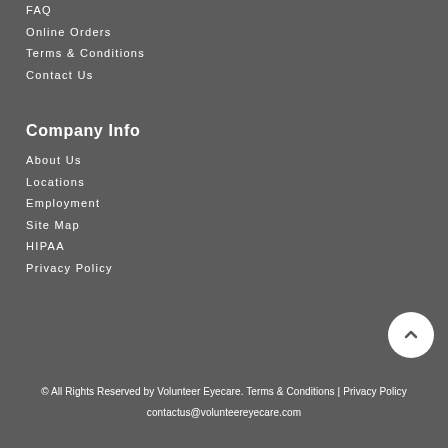FAQ
Online Orders
Terms & Conditions
Contact Us
Company Info
About Us
Locations
Employment
Site Map
HIPAA
Privacy Policy
© All Rights Reserved by Volunteer Eyecare. Terms & Conditions | Privacy Policy
contactus@volunteereyecare.com